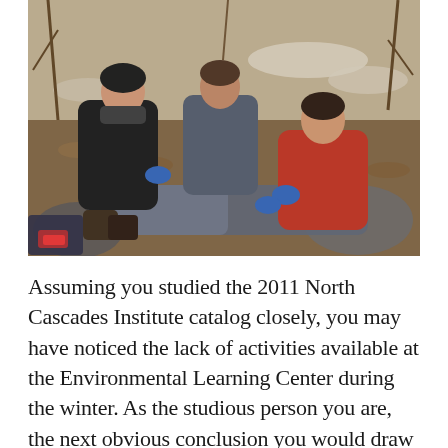[Figure (photo): Outdoor wilderness first aid training scene. Three people sit on rocky ground in a wooded winter setting with snow visible in background. One person in a black jacket and one in a red jacket wearing blue medical gloves appear to be treating the legs of a person lying on the ground. Various gear and equipment are scattered around.]
Assuming you studied the 2011 North Cascades Institute catalog closely, you may have noticed the lack of activities available at the Environmental Learning Center during the winter. As the studious person you are, the next obvious conclusion you would draw is that we close our doors, descend into hibernation, and